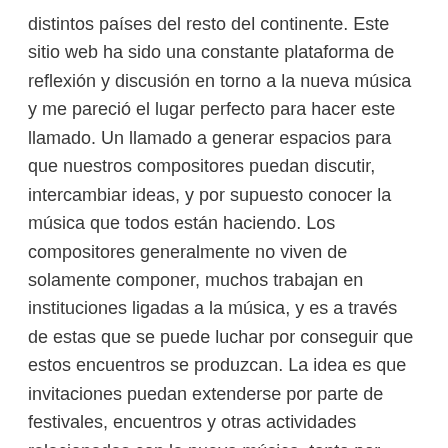distintos países del resto del continente. Este sitio web ha sido una constante plataforma de reflexión y discusión en torno a la nueva música y me pareció el lugar perfecto para hacer este llamado. Un llamado a generar espacios para que nuestros compositores puedan discutir, intercambiar ideas, y por supuesto conocer la música que todos están haciendo. Los compositores generalmente no viven de solamente componer, muchos trabajan en instituciones ligadas a la música, y es a través de estas que se puede luchar por conseguir que estos encuentros se produzcan. La idea es que invitaciones puedan extenderse por parte de festivales, encuentros y otras actividades relacionadas con la nueva música, tanto por parte de los estadounidenses a los compositores de otros países, como de estos hacia sus colegas del norte.
En Sudamérica todavía tenemos demasiado por hacer para difundir y proteger la nueva música. Pero se puede avanzar